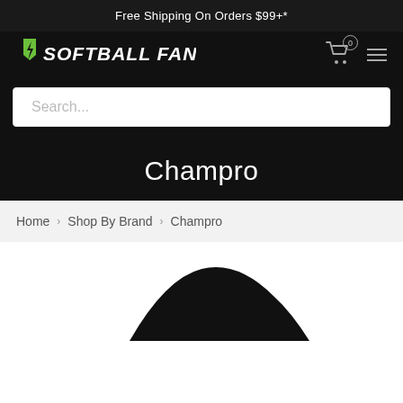Free Shipping On Orders $99+*
[Figure (logo): Softball Fans logo with green shield/lightning bolt and white bold text]
[Figure (screenshot): Search input field with placeholder text 'Search...']
Champro
Home > Shop By Brand > Champro
[Figure (logo): Partial Champro brand logo visible at bottom of page (black curved shape)]